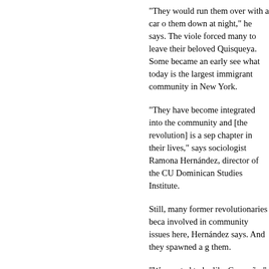“They would run them over with a car or hunt them down at night,” he says. The violence forced many to leave their beloved Quisqueya. Some became an early seed of what today is the largest immigrant community in New York.
“They have become integrated into the community and [the revolution] is a separate chapter in their lives,” says sociologist Ramona Hernández, director of the CU Dominican Studies Institute.
Still, many former revolutionaries became involved in community issues here, Hernández says. And they spawned a generation after them.
“We wanted to be like Caamaño,” says revolutionary leader Col. Francisco Caa
Pérez, 52, vividly remembers seeing a crowd Francisco de Macoris.
Although the American government said they were ideologically diverse.
“They labeled us supporters of Fidel Ca accusations,” says Estévez.